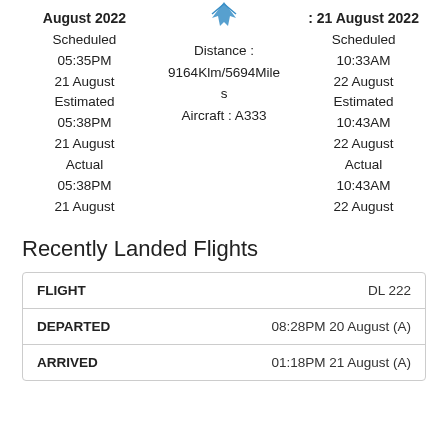August 2022
Scheduled
05:35PM
21 August
Estimated
05:38PM
21 August
Actual
05:38PM
21 August
Distance : 9164Klm/5694Miles
Aircraft : A333
: 21 August 2022
Scheduled
10:33AM
22 August
Estimated
10:43AM
22 August
Actual
10:43AM
22 August
Recently Landed Flights
| FLIGHT | DL 222 |
| --- | --- |
| DEPARTED | 08:28PM 20 August (A) |
| ARRIVED | 01:18PM 21 August (A) |